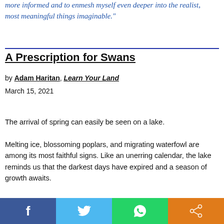more informed and to enmesh myself even deeper into the realist, most meaningful things imaginable."
A Prescription for Swans
by Adam Haritan, Learn Your Land
March 15, 2021
The arrival of spring can easily be seen on a lake.
Melting ice, blossoming poplars, and migrating waterfowl are among its most faithful signs. Like an unerring calendar, the lake reminds us that the darkest days have expired and a season of growth awaits.